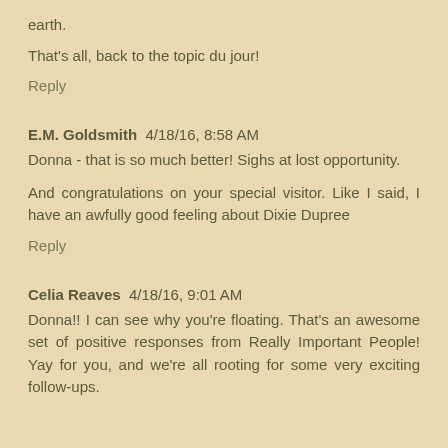earth.
That's all, back to the topic du jour!
Reply
E.M. Goldsmith  4/18/16, 8:58 AM
Donna - that is so much better! Sighs at lost opportunity.
And congratulations on your special visitor. Like I said, I have an awfully good feeling about Dixie Dupree
Reply
Celia Reaves  4/18/16, 9:01 AM
Donna!! I can see why you're floating. That's an awesome set of positive responses from Really Important People! Yay for you, and we're all rooting for some very exciting follow-ups.